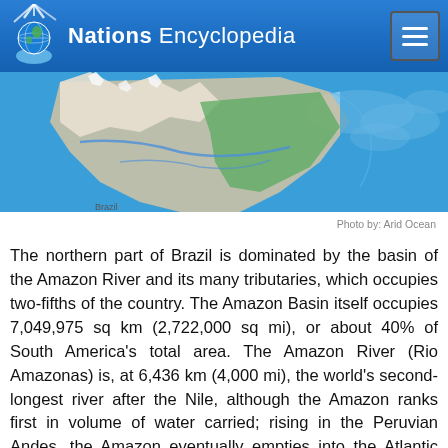Nations Encyclopedia
[Figure (map): Satellite/topographic relief map of South America (Brazil region), showing the Amazon basin, Andes mountains, and Atlantic coast. Blue ocean background with green and grey landmass.]
Photo by: Arid Ocean
The northern part of Brazil is dominated by the basin of the Amazon River and its many tributaries, which occupies two-fifths of the country. The Amazon Basin itself occupies 7,049,975 sq km (2,722,000 sq mi), or about 40% of South America's total area. The Amazon River (Rio Amazonas) is, at 6,436 km (4,000 mi), the world's second-longest river after the Nile, although the Amazon ranks first in volume of water carried; rising in the Peruvian Andes, the Amazon eventually empties into the Atlantic Ocean at an average rate of about 198,000 cu m (7 million cu ft) per second. The Amazon lowlands east of the Andes constitute the world's largest tropical rain forest. In the northernmost part of the Amazon Basin lies a series of mountain ranges, known as the Guiana